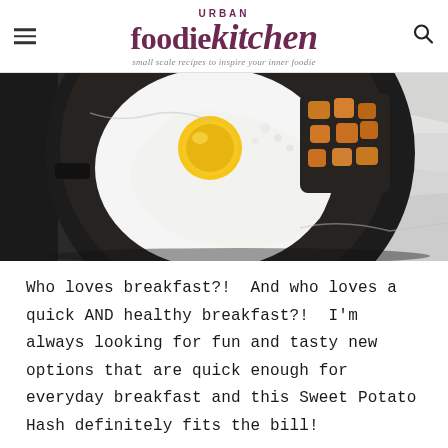URBAN foodie kitchen — small scale recipes to inspire your inner foodie
[Figure (photo): Overhead view of a cast iron skillet with a fried egg and sweet potato hash, on a light background]
Who loves breakfast?!  And who loves a quick AND healthy breakfast?!  I'm always looking for fun and tasty new options that are quick enough for everyday breakfast and this Sweet Potato Hash definitely fits the bill!